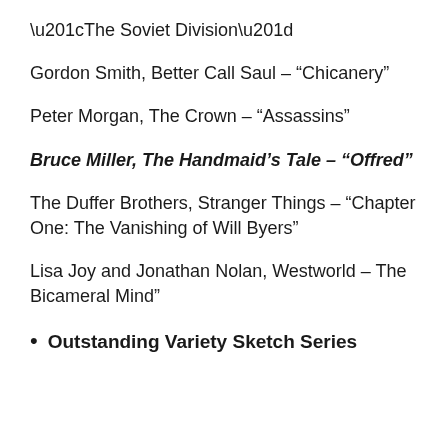“The Soviet Division”
Gordon Smith, Better Call Saul – “Chicanery”
Peter Morgan, The Crown – “Assassins”
Bruce Miller, The Handmaid’s Tale – “Offred”
The Duffer Brothers, Stranger Things – “Chapter One: The Vanishing of Will Byers”
Lisa Joy and Jonathan Nolan, Westworld – The Bicameral Mind”
Outstanding Variety Sketch Series